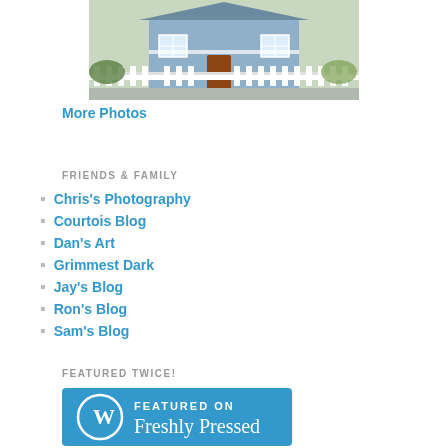[Figure (photo): Photo of a blue Victorian-style house with white picket fence]
More Photos
FRIENDS & FAMILY
Chris's Photography
Courtois Blog
Dan's Art
Grimmest Dark
Jay's Blog
Ron's Blog
Sam's Blog
FEATURED TWICE!
[Figure (logo): Featured on Freshly Pressed WordPress badge]